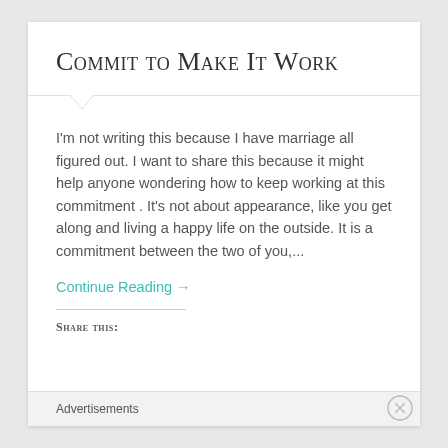Commit to Make It Work
I'm not writing this because I have marriage all figured out. I want to share this because it might help anyone wondering how to keep working at this commitment . It's not about appearance, like you get along and living a happy life on the outside. It is a commitment between the two of you,...
Continue Reading →
Share this:
Advertisements